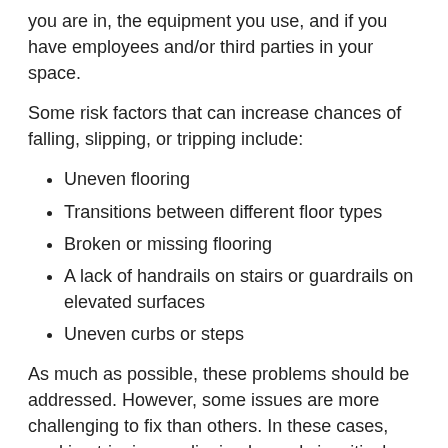you are in, the equipment you use, and if you have employees and/or third parties in your space.
Some risk factors that can increase chances of falling, slipping, or tripping include:
Uneven flooring
Transitions between different floor types
Broken or missing flooring
A lack of handrails on stairs or guardrails on elevated surfaces
Uneven curbs or steps
As much as possible, these problems should be addressed. However, some issues are more challenging to fix than others. In these cases, marking tripping or slipping hazards is critical. These areas could include steps up or down into another room, a metal grate set into flooring, or a transition between surfaces. Posting signs, highlighting